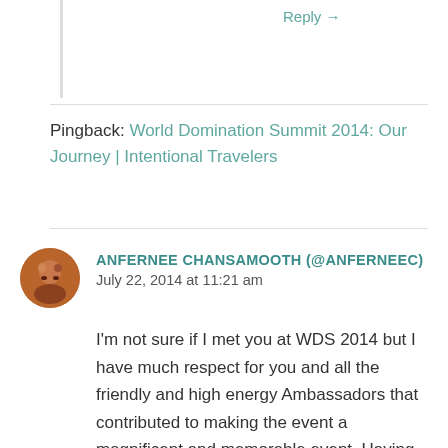Reply →
Pingback: World Domination Summit 2014: Our Journey | Intentional Travelers
ANFERNEE CHANSAMOOTH (@ANFERNEEC)
July 22, 2014 at 11:21 am
I'm not sure if I met you at WDS 2014 but I have much respect for you and all the friendly and high energy Ambassadors that contributed to making the event a magnificent and memorable event. Having volunteered for many events over the past few years back home in Sydney, and as a speaker who ran my own small event recently, I know how